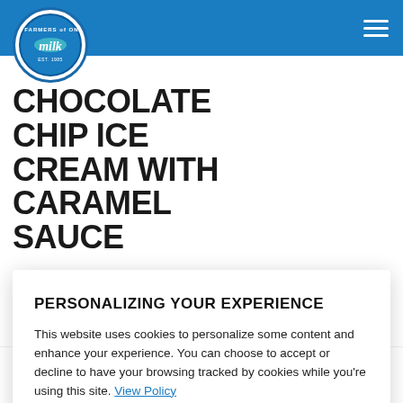Dairy Farmers of Ontario - milk
CHOCOLATE CHIP ICE CREAM WITH CARAMEL SAUCE
DESSERT  SERVES
PERSONALIZING YOUR EXPERIENCE
This website uses cookies to personalize some content and enhance your experience. You can choose to accept or decline to have your browsing tracked by cookies while you're using this site. View Policy
DECLINE   ACCEPT
simple but delicious no-churn chocolate chip